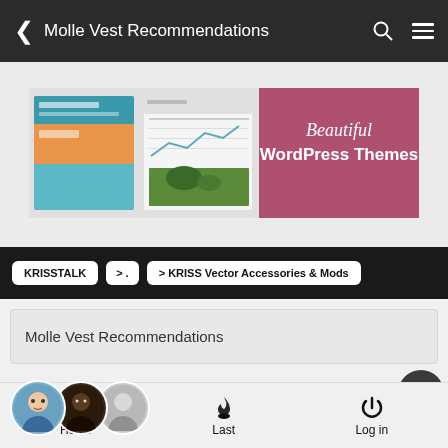Molle Vest Recommendations
[Figure (screenshot): Advertisement banner for Beautiful WordPress Themes showing website screenshots and a pink/mauve background with italic 'Beautiful' and bold 'WordPress Themes' text]
KRISSTALK > . > KRISS Vector Accessories & Mods
Molle Vest Recommendations
3 posters
Home  Last  Log in